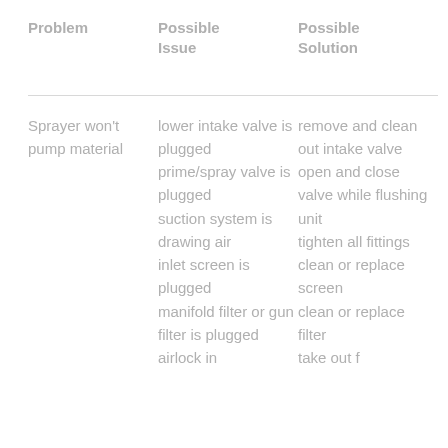| Problem | Possible Issue | Possible Solution |
| --- | --- | --- |
| Sprayer won't pump material | lower intake valve is plugged
prime/spray valve is plugged
suction system is drawing air
inlet screen is plugged
manifold filter or gun filter is plugged
airlock in | remove and clean out intake valve
open and close valve while flushing unit
tighten all fittings
clean or replace screen
clean or replace filter
take out f |